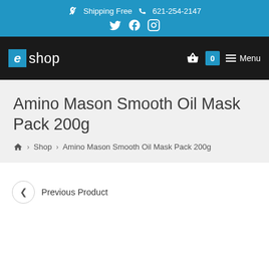Shipping Free  621-254-2147
eshop  0  Menu
Amino Mason Smooth Oil Mask Pack 200g
Home > Shop > Amino Mason Smooth Oil Mask Pack 200g
Previous Product